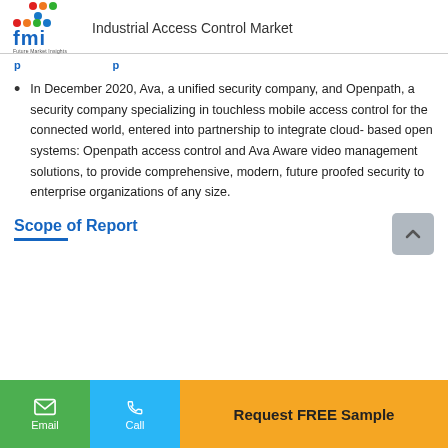Industrial Access Control Market
In December 2020, Ava, a unified security company, and Openpath, a security company specializing in touchless mobile access control for the connected world, entered into partnership to integrate cloud-based open systems: Openpath access control and Ava Aware video management solutions, to provide comprehensive, modern, future proofed security to enterprise organizations of any size.
Scope of Report